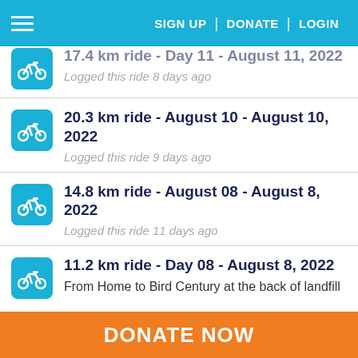SIGN UP | DONATE | LOGIN
17.4 km ride - Day 11 - August 11, 2022 — Logged this ride 8 days ago
20.3 km ride - August 10 - August 10, 2022 — Logged this ride 9 days ago
14.8 km ride - August 08 - August 8, 2022 — Logged this ride 11 days ago
11.2 km ride - Day 08 - August 8, 2022 — From Home to Bird Century at the back of landfill
DONATE NOW